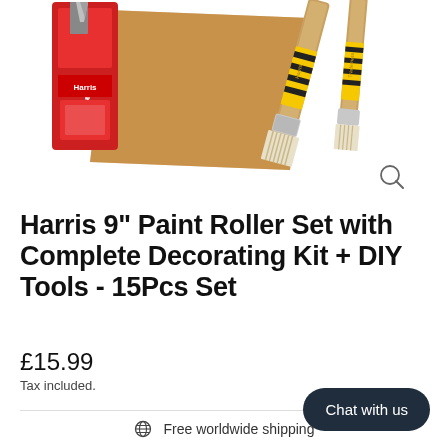[Figure (photo): Product image showing a work knife in red packaging, a sandpaper sheet, and two Harris Trademate paint brushes with yellow and black striped handles on white background. Magnify/zoom icon in bottom right corner.]
Harris 9" Paint Roller Set with Complete Decorating Kit + DIY Tools - 15Pcs Set
£15.99
Tax included.
Chat with us
Free worldwide shipping